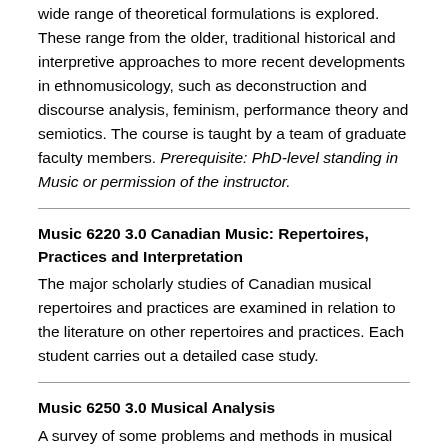wide range of theoretical formulations is explored. These range from the older, traditional historical and interpretive approaches to more recent developments in ethnomusicology, such as deconstruction and discourse analysis, feminism, performance theory and semiotics. The course is taught by a team of graduate faculty members. Prerequisite: PhD-level standing in Music or permission of the instructor.
Music 6220 3.0 Canadian Music: Repertoires, Practices and Interpretation
The major scholarly studies of Canadian musical repertoires and practices are examined in relation to the literature on other repertoires and practices. Each student carries out a detailed case study.
Music 6250 3.0 Musical Analysis
A survey of some problems and methods in musical